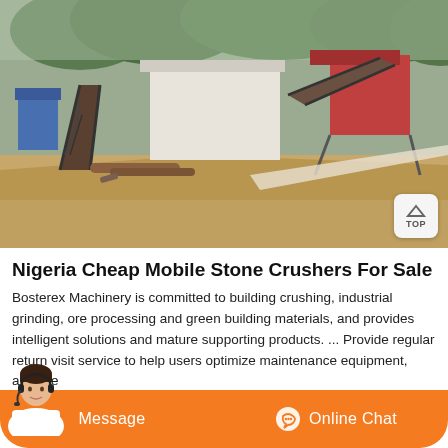[Figure (photo): Outdoor industrial stone crusher facility with conveyor belts, machinery structures, and sandy terrain surrounded by forested hills. A TOP navigation button is visible in the bottom-right corner of the image.]
Nigeria Cheap Mobile Stone Crushers For Sale
Bosterex Machinery is committed to building crushing, industrial grinding, ore processing and green building materials, and provides intelligent solutions and mature supporting products. ... Provide regular return visit service to help users optimize maintenance equipment, analyze